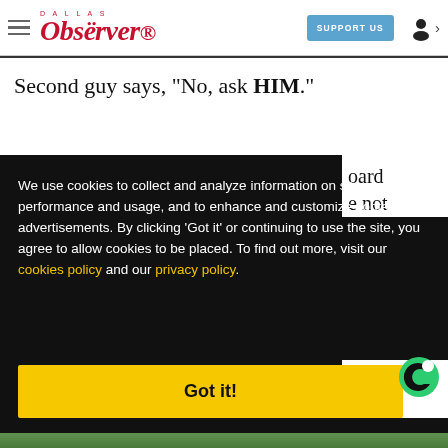Dallas Observer — SUPPORT US
Second guy says, "No, ask HIM."
oard e not
We use cookies to collect and analyze information on site performance and usage, and to enhance and customize content and advertisements. By clicking 'Got it' or continuing to use the site, you agree to allow cookies to be placed. To find out more, visit our cookies policy and our privacy policy.
Got it!
, I'm ve